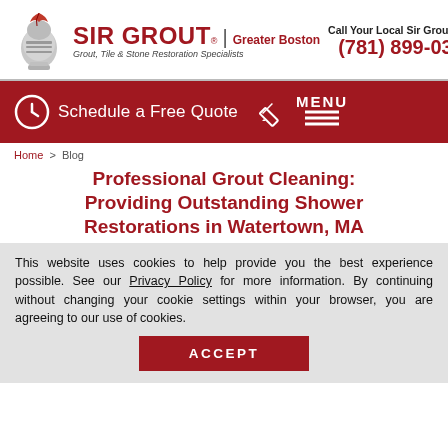Call Your Local Sir Grout Today (781) 899-0388 | SIR GROUT® Greater Boston | Grout, Tile & Stone Restoration Specialists
[Figure (logo): Sir Grout knight logo with quill pen]
[Figure (infographic): Red navigation bar with clock icon, Schedule a Free Quote text, pencil icon, and MENU with hamburger lines]
Home > Blog
Professional Grout Cleaning: Providing Outstanding Shower Restorations in Watertown, MA
This website uses cookies to help provide you the best experience possible. See our Privacy Policy for more information. By continuing without changing your cookie settings within your browser, you are agreeing to our use of cookies.
ACCEPT